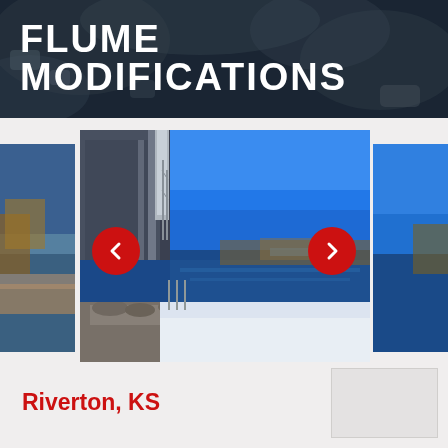FLUME MODIFICATIONS
[Figure (photo): Image carousel showing a water flume/canal modification project. Center: wide panoramic photo of an industrial facility beside a body of water with a snow-covered walkway and blue sky. Left side: partial view of a riverbank photo. Right side: partial view of a water/sky photo. Navigation arrows (left and right) in red circles overlay the sides.]
Riverton, KS